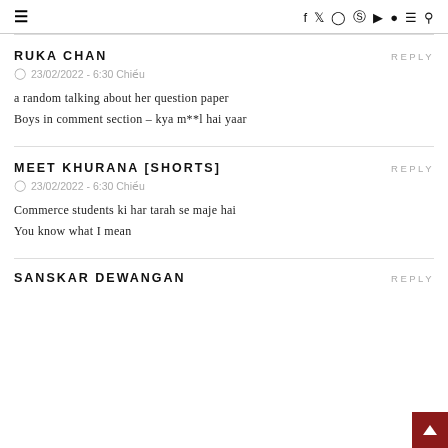≡   f  t  ◎  ⊕  ▶  ◑  ≡  🔍
RUKA CHAN
REPLY
23/02/2022 - 6:30 Chiều
a random talking about her question paper
Boys in comment section – kya m**l hai yaar
MEET KHURANA [SHORTS]
REPLY
23/02/2022 - 6:30 Chiều
Commerce students ki har tarah se maje hai
You know what I mean
SANSKAR DEWANGAN
REPLY